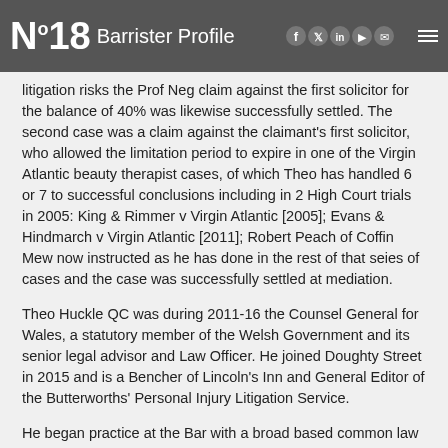Nº18 Barrister Profile
litigation risks the Prof Neg claim against the first solicitor for the balance of 40% was likewise successfully settled. The second case was a claim against the claimant's first solicitor, who allowed the limitation period to expire in one of the Virgin Atlantic beauty therapist cases, of which Theo has handled 6 or 7 to successful conclusions including in 2 High Court trials in 2005: King & Rimmer v Virgin Atlantic [2005]; Evans & Hindmarch v Virgin Atlantic [2011]; Robert Peach of Coffin Mew now instructed as he has done in the rest of that seies of cases and the case was successfully settled at mediation.
Theo Huckle QC was during 2011-16 the Counsel General for Wales, a statutory member of the Welsh Government and its senior legal advisor and Law Officer. He joined Doughty Street in 2015 and is a Bencher of Lincoln's Inn and General Editor of the Butterworths' Personal Injury Litigation Service.
He began practice at the Bar with a broad based common law practice conducting 12 murder defences before specialising in complex disease cases and latterly also public/constitutional cases, and has great experience of advocacy at every UK level including 5 recent Supreme Court appearances, and in many different tribunals from public inquiry to coroner's court to